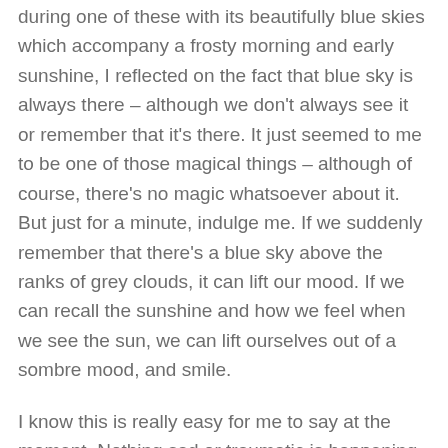during one of these with its beautifully blue skies which accompany a frosty morning and early sunshine, I reflected on the fact that blue sky is always there – although we don't always see it or remember that it's there.  It just seemed to me to be one of those magical things – although of course, there's no magic whatsoever about it.  But just for a minute, indulge me.  If we suddenly remember that there's a blue sky above the ranks of grey clouds, it can lift our mood.  If we can recall the sunshine and how we feel when we see the sun, we can lift ourselves out of a sombre mood, and smile.
I know this is really easy for me to say at the moment.  Nothing sad or traumatic is happening in my life right now so I'm thinking these thoughts from a positive, optimistic mind set.  I know it's much harder to imagine when life is doing its thing and dumping on you from a great height.  Still, if we can remember the better times when our hearts are